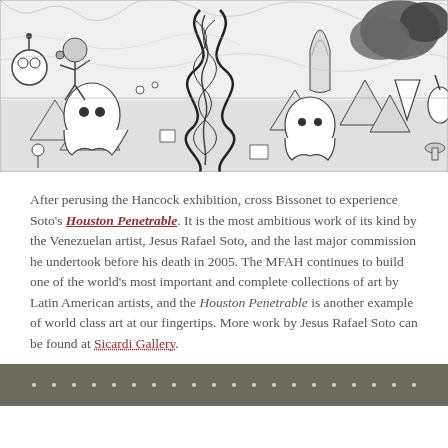[Figure (illustration): Black and white detailed pen-and-ink illustration featuring surreal characters including ghost-like figures, a twisted tower of ribbons in the center, cartoon robots, mountains, and whimsical creatures across a detailed landscape.]
After perusing the Hancock exhibition, cross Bissonet to experience Soto's Houston Penetrable. It is the most ambitious work of its kind by the Venezuelan artist, Jesus Rafael Soto, and the last major commission he undertook before his death in 2005. The MFAH continues to build one of the world's most important and complete collections of art by Latin American artists, and the Houston Penetrable is another example of world class art at our fingertips. More work by Jesus Rafael Soto can be found at Sicardi Gallery.
[Figure (photo): Bottom edge of a dark olive/grey installation or ceiling structure with small white dot lights arranged in a grid pattern.]